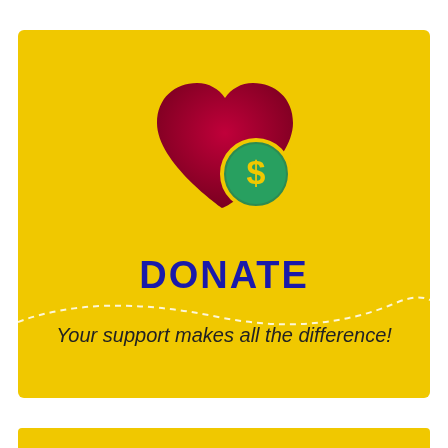[Figure (illustration): Yellow card with a dark red heart icon overlapping a green dollar coin badge, followed by the word DONATE in bold blue and a tagline below]
DONATE
Your support makes all the difference!